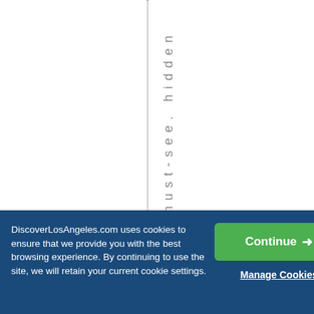e must-see. hidden
DiscoverLosAngeles.com uses cookies to ensure that we provide you with the best browsing experience. By continuing to use the site, we will retain your current cookie settings.
Continue →
Manage Cookies